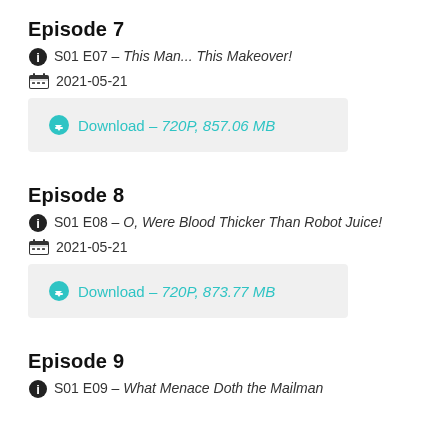Episode 7
S01 E07 – This Man... This Makeover!
2021-05-21
Download – 720P, 857.06 MB
Episode 8
S01 E08 – O, Were Blood Thicker Than Robot Juice!
2021-05-21
Download – 720P, 873.77 MB
Episode 9
S01 E09 – What Menace Doth the Mailman